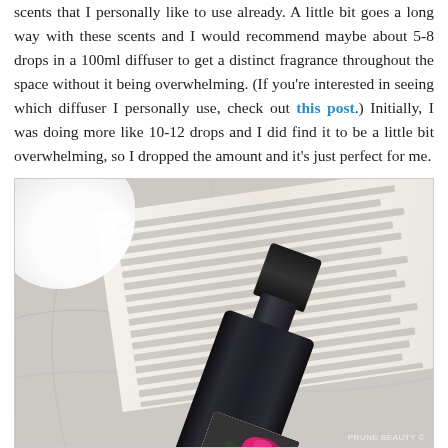scents that I personally like to use already. A little bit goes a long way with these scents and I would recommend maybe about 5-8 drops in a 100ml diffuser to get a distinct fragrance throughout the space without it being overwhelming. (If you're interested in seeing which diffuser I personally use, check out this post.) Initially, I was doing more like 10-12 drops and I did find it to be a little bit overwhelming, so I dropped the amount and it's just perfect for me.
[Figure (photo): A small dark glass essential oil bottle (Avon Pure Essential Oil) with a black cap and a white label featuring a pink rose graphic, placed on an open book with visible text pages, resting on a marble surface. A white fluffy object is visible in the top-left corner.]